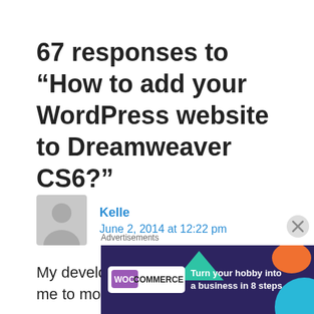67 responses to “How to add your WordPress website to Dreamweaver CS6?”
Kelle
June 2, 2014 at 12:22 pm
My developer is trying to convince me to move to .net from PHP.
[Figure (infographic): WooCommerce advertisement banner: dark purple background with teal triangle, orange shape, blue circle, WooCommerce logo in white badge, text 'Turn your hobby into a business in 8 steps']